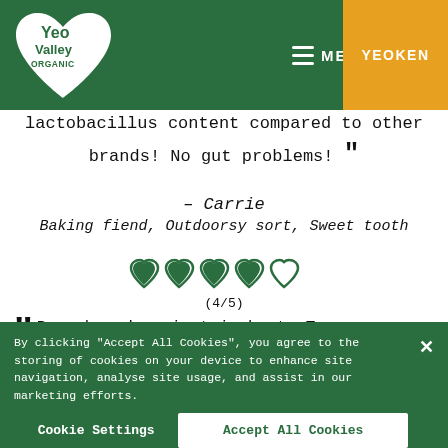[Figure (logo): Yeo Valley Organic logo — white heart shape with Yeo Valley Organic text inside]
MENU   YEOKEN
lactobacillus content compared to other brands! No gut problems! ”
– Carrie
Baking fiend, Outdoorsy sort, Sweet tooth
[Figure (other): 5-heart rating display showing 4 filled green hearts and 1 empty heart outline, rating (4/5)]
“ Pea,ch and apricot is best .Too many yoghurt have too much sugar for my taste and I find this is not always available unfortunately ”
By clicking “Accept All Cookies”, you agree to the storing of cookies on your device to enhance site navigation, analyse site usage, and assist in our marketing efforts.
Cookie Settings
Accept All Cookies